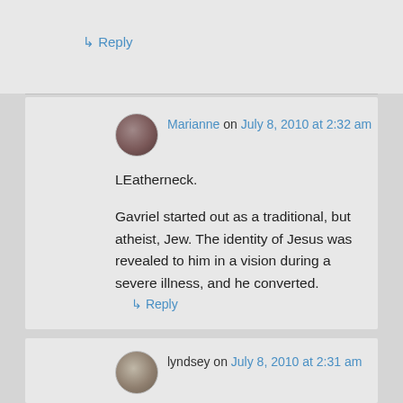↳ Reply
Marianne on July 8, 2010 at 2:32 am
LEatherneck.

Gavriel started out as a traditional, but atheist, Jew. The identity of Jesus was revealed to him in a vision during a severe illness, and he converted.
↳ Reply
lyndsey on July 8, 2010 at 2:31 am